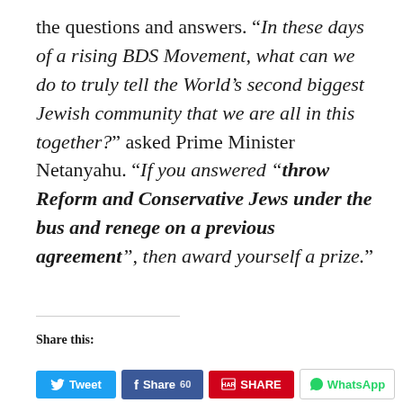the questions and answers. “In these days of a rising BDS Movement, what can we do to truly tell the World’s second biggest Jewish community that we are all in this together?” asked Prime Minister Netanyahu. “If you answered “throw Reform and Conservative Jews under the bus and renege on a previous agreement”, then award yourself a prize.”
Share this: